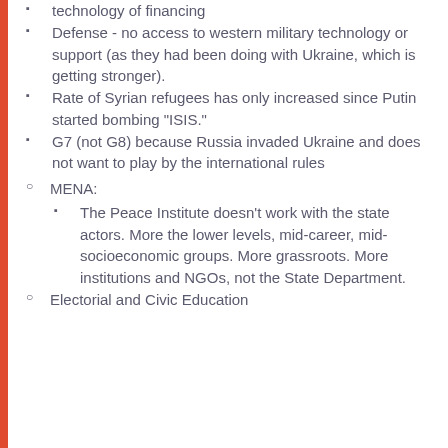technology of financing
Defense - no access to western military technology or support (as they had been doing with Ukraine, which is getting stronger).
Rate of Syrian refugees has only increased since Putin started bombing "ISIS."
G7 (not G8) because Russia invaded Ukraine and does not want to play by the international rules
MENA:
The Peace Institute doesn't work with the state actors. More the lower levels, mid-career, mid-socioeconomic groups. More grassroots. More institutions and NGOs, not the State Department.
Electorial and Civic Education